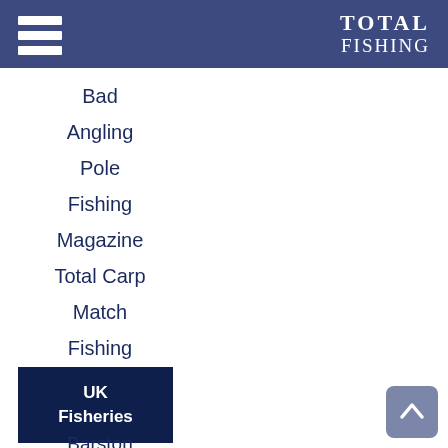TOTAL FISHING
Bad
Angling
Pole
Fishing
Magazine
Total Carp
Match
Fishing
UK Fisheries
Barston
Lakes